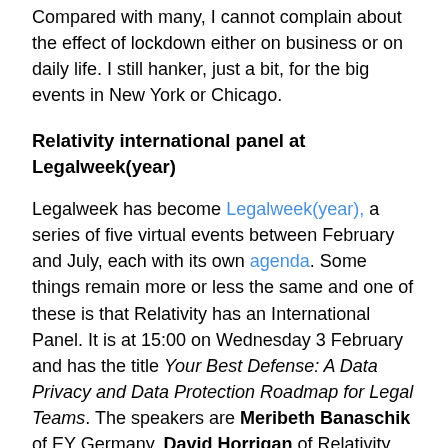Compared with many, I cannot complain about the effect of lockdown either on business or on daily life. I still hanker, just a bit, for the big events in New York or Chicago.
Relativity international panel at Legalweek(year)
Legalweek has become Legalweek(year), a series of five virtual events between February and July, each with its own agenda. Some things remain more or less the same and one of these is that Relativity has an International Panel. It is at 15:00 on Wednesday 3 February and has the title Your Best Defense: A Data Privacy and Data Protection Roadmap for Legal Teams. The speakers are Meribeth Banaschik of EY Germany, David Horrigan of Relativity, Susan Cone Kilgore of the U.S. Department of the Army, Debbie Reynolds of Debbie Reynolds